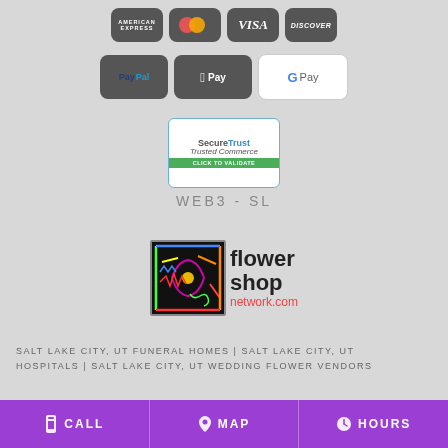[Figure (logo): Payment method logos: American Express, Mastercard, Visa, Discover, PayPal, Apple Pay, Google Pay]
[Figure (logo): SecureTrust Trusted Commerce - Click to Validate badge]
WEB3-SL
[Figure (logo): Flower Shop Network .com logo]
SALT LAKE CITY, UT FUNERAL HOMES | SALT LAKE CITY, UT HOSPITALS | SALT LAKE CITY, UT WEDDING FLOWER VENDORS
CALL | MAP | HOURS